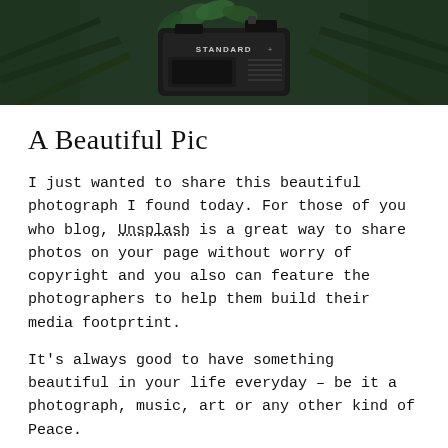[Figure (photo): A dark photograph showing a vintage camera with 'STANDARD' text visible on it, surrounded by green foliage and pine needles, cropped at the top.]
A Beautiful Pic
I just wanted to share this beautiful photograph I found today. For those of you who blog, Unsplash is a great way to share photos on your page without worry of copyright and you also can feature the photographers to help them build their media footprtint.
It's always good to have something beautiful in your life everyday – be it a photograph, music, art or any other kind of Peace.
Enjoy!